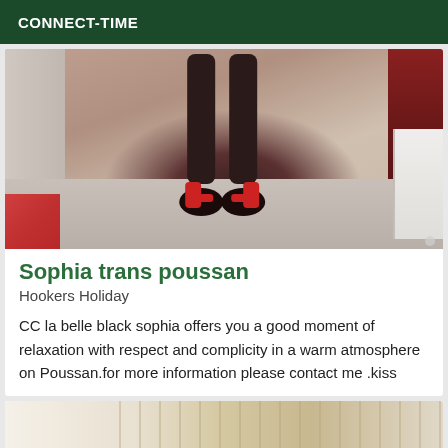CONNECT-TIME
[Figure (photo): Photo of feet wearing red sandals/heels on a gray floor, with a red curtain and white furniture in the background]
Sophia trans poussan
Hookers Holiday
CC la belle black sophia offers you a good moment of relaxation with respect and complicity in a warm atmosphere on Poussan.for more information please contact me .kiss
[Figure (photo): Partial view of a room interior with light-colored walls and wooden furniture]